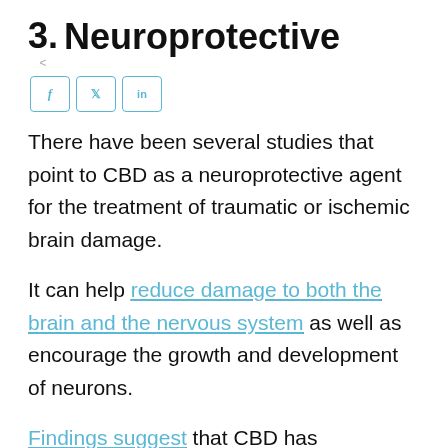3. Neuroprotective
There have been several studies that point to CBD as a neuroprotective agent for the treatment of traumatic or ischemic brain damage.
It can help reduce damage to both the brain and the nervous system as well as encourage the growth and development of neurons.
Findings suggest that CBD has therapeutic credence for traumatic brain injuries, spinal cord diseases and injuries, and strokes.
Its neuroprotective properties may also be